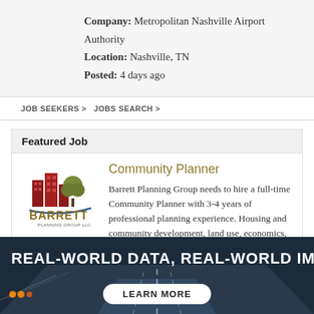Company: Metropolitan Nashville Airport Authority
Location: Nashville, TN
Posted: 4 days ago
JOB SEEKERS > JOBS SEARCH >
Featured Job
[Figure (logo): Barrett Planning Group LLC logo with red buildings and a tree]
Community Planner
Barrett Planning Group needs to hire a full-time Community Planner with 3-4 years of professional planning experience. Housing and community development, land use, economics, GIS and data visualization, and
[Figure (photo): Banner photo of highway road at night with text REAL-WORLD DATA, REAL-WORLD IMPA... and a LEARN MORE button]